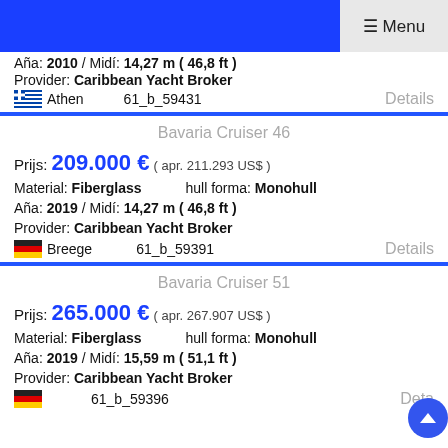☰ Menu
Aña: 2010 / Midí: 14,27 m ( 46,8 ft )
Provider: Caribbean Yacht Broker
🇬🇷 Athen   61_b_59431   Details
Bavaria Cruiser 46
Prijs: 209.000 € ( apr. 211.293 US$ )
Material: Fiberglass   hull forma: Monohull
Aña: 2019 / Midí: 14,27 m ( 46,8 ft )
Provider: Caribbean Yacht Broker
🇩🇪 Breege   61_b_59391   Details
Bavaria Cruiser 51
Prijs: 265.000 € ( apr. 267.907 US$ )
Material: Fiberglass   hull forma: Monohull
Aña: 2019 / Midí: 15,59 m ( 51,1 ft )
Provider: Caribbean Yacht Broker
🇩🇪   61_b_59396   Details